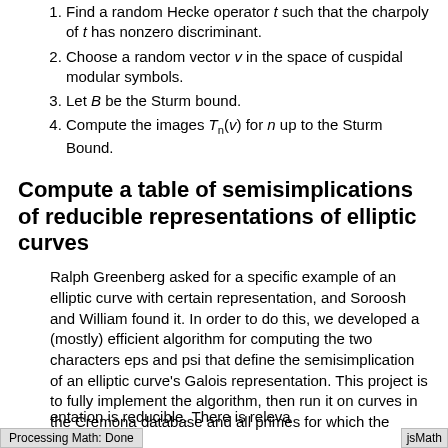1. Find a random Hecke operator t such that the charpoly of t has nonzero discriminant.
2. Choose a random vector v in the space of cuspidal modular symbols.
3. Let B be the Sturm bound.
4. Compute the images T_n(v) for n up to the Sturm Bound.
Compute a table of semisimplications of reducible representations of elliptic curves
Ralph Greenberg asked for a specific example of an elliptic curve with certain representation, and Soroosh and William found it. In order to do this, we developed a (mostly) efficient algorithm for computing the two characters eps and psi that define the semisimplication of an elliptic curve's Galois representation. This project is to fully implement the algorithm, then run it on curves in the Cremona database and all primes for which the representation is reducible. There is releva
Processing Math: Done
jsMath